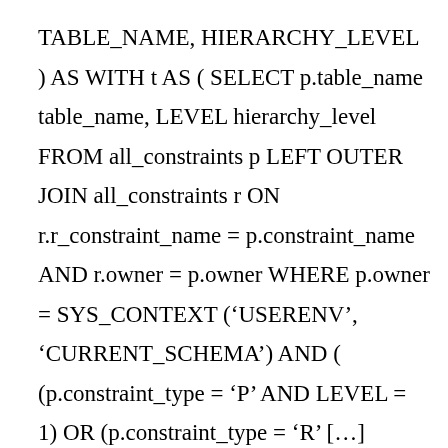TABLE_NAME, HIERARCHY_LEVEL ) AS WITH t AS ( SELECT p.table_name table_name, LEVEL hierarchy_level FROM all_constraints p LEFT OUTER JOIN all_constraints r ON r.r_constraint_name = p.constraint_name AND r.owner = p.owner WHERE p.owner = SYS_CONTEXT (‘USERENV’, ‘CURRENT_SCHEMA’) AND ( (p.constraint_type = ‘P’ AND LEVEL = 1) OR (p.constraint_type = ‘R’ […]